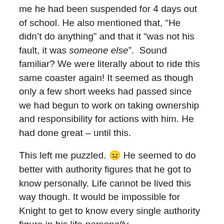me he had been suspended for 4 days out of school. He also mentioned that, “He didn’t do anything” and that it “was not his fault, it was someone else”.  Sound familiar? We were literally about to ride this same coaster again! It seemed as though only a few short weeks had passed since we had begun to work on taking ownership and responsibility for actions with him. He had done great – until this.
This left me puzzled. 😐 He seemed to do better with authority figures that he got to know personally. Life cannot be lived this way though. It would be impossible for Knight to get to know every single authority figure in his life personally.
I spoke with him about the importance of doing as the teachers ask while in their classes. We talked about